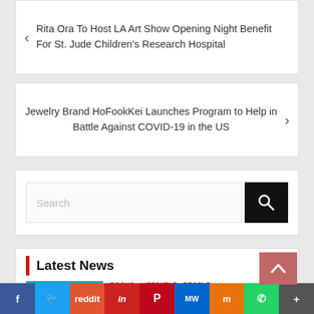Rita Ora To Host LA Art Show Opening Night Benefit For St. Jude Children's Research Hospital
Jewelry Brand HoFookKei Launches Program to Help in Battle Against COVID-19 in the US
Search
Latest News
BOOKS  LIFESYTLE  PEOPLE
Embrace a Growth Mindset and Unlock Your Full Potential